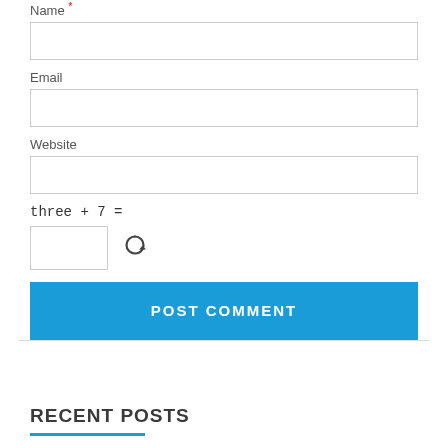Name *
Email
Website
[Figure (other): Refresh/reload icon (circular arrows)]
POST COMMENT
RECENT POSTS